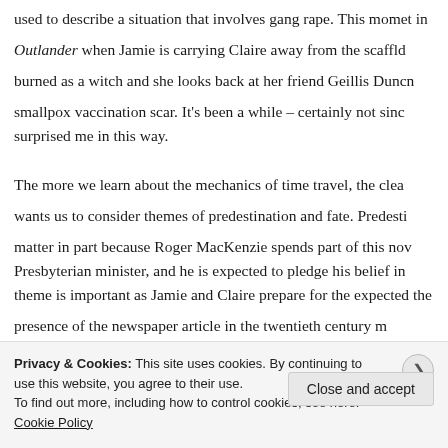used to describe a situation that involves gang rape. This moment in Outlander when Jamie is carrying Claire away from the scaffold burned as a witch and she looks back at her friend Geillis Dunca... smallpox vaccination scar. It's been a while – certainly not since surprised me in this way.
The more we learn about the mechanics of time travel, the clear... wants us to consider themes of predestination and fate. Predesti... matter in part because Roger MacKenzie spends part of this nov... Presbyterian minister, and he is expected to pledge his belief in theme is important as Jamie and Claire prepare for the expected the presence of the newspaper article in the twentieth century m... prevent the fire from taking place? If the house catches on fire,... In Dragonfly in Amber, Claire and Jamie try to interfere with th...
Privacy & Cookies: This site uses cookies. By continuing to use this website, you agree to their use.
To find out more, including how to control cookies, see here: Cookie Policy
Close and accept